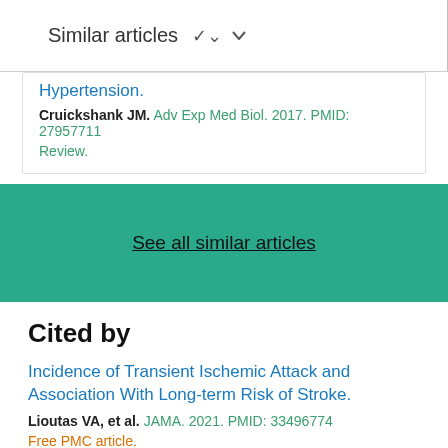Similar articles
Hypertension.
Cruickshank JM. Adv Exp Med Biol. 2017. PMID: 27957711 Review.
See all similar articles
Cited by
Incidence of Transient Ischemic Attack and Association With Long-term Risk of Stroke.
Lioutas VA, et al. JAMA. 2021. PMID: 33496774
Free PMC article.
Pharmacotherapy for hypertension in adults 60 years or older.